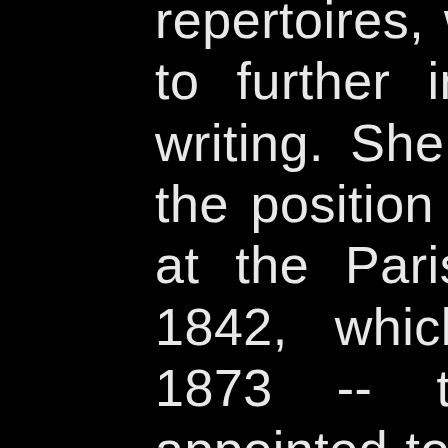repertoires, which would go on to further influence her later writing. She was appointed to the position of piano professor at the Paris Conservatory in 1842, which she held until 1873 -- the only female appointed to a professorship at the school in the entire 19th century. After a decade, she was able to use her music and reputation as a prestigious teacher to fight for and obtain pay equal to her male counterparts following the successful premiere of her Nonet for string quartet